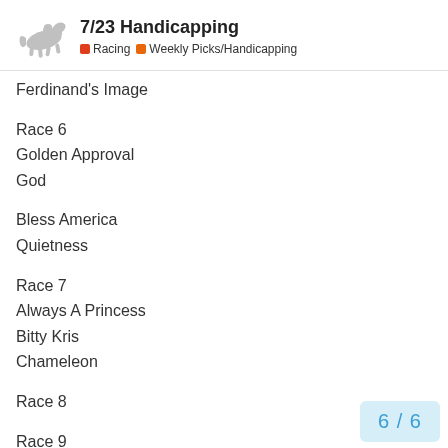7/23 Handicapping — Racing | Weekly Picks/Handicapping
Ferdinand's Image
Race 6
Golden Approval
God
Bless America
Quietness
Race 7
Always A Princess
Bitty Kris
Chameleon
Race 8
Race 9
Race 10
Kill The Lights
Le Petit Prince
6 / 6